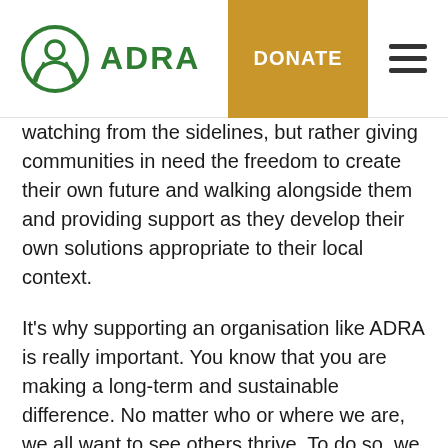[Figure (logo): ADRA logo with globe/people icon and green ADRA text, with DONATE button and hamburger menu]
watching from the sidelines, but rather giving communities in need the freedom to create their own future and walking alongside them and providing support as they develop their own solutions appropriate to their local context.
It's why supporting an organisation like ADRA is really important. You know that you are making a long-term and sustainable difference. No matter who or where we are, we all want to see others thrive. To do so, we can use these helpful tips to put our best foot forward and help nurture thriving relationships.
But to do that effectively, it's important that we empower communities to drive change. That sometimes means taking a back seat, and not being meddling in-laws.
Although Enjoying the exciting food, driving...